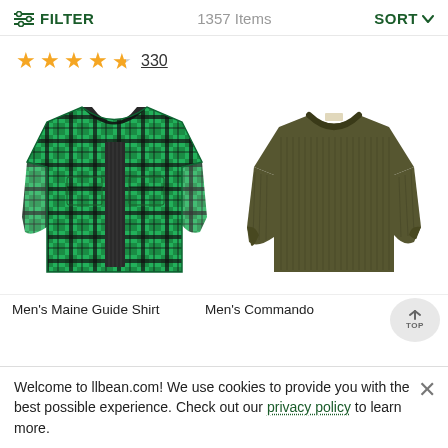FILTER   1357 Items   SORT
★★★★½ 330
[Figure (photo): Green and black plaid flannel shirt jacket with open front showing quilted lining]
[Figure (photo): Olive/army green ribbed crew neck sweater]
Men's Maine Guide Shirt
Men's Commando
Welcome to llbean.com! We use cookies to provide you with the best possible experience. Check out our privacy policy to learn more.